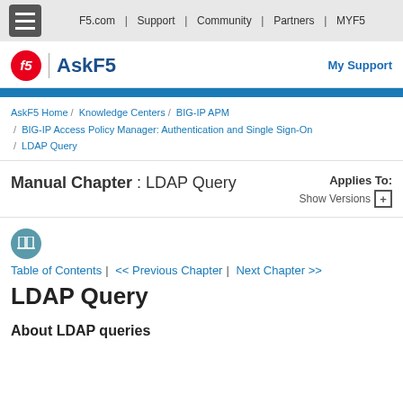F5.com | Support | Community | Partners | MYF5
[Figure (logo): F5 AskF5 logo with red circle F5 mark and blue AskF5 text, with My Support link on right]
AskF5 Home / Knowledge Centers / BIG-IP APM / BIG-IP Access Policy Manager: Authentication and Single Sign-On / LDAP Query
Manual Chapter : LDAP Query
Applies To: Show Versions +
[Figure (illustration): Teal circle icon with open book symbol]
Table of Contents | << Previous Chapter | Next Chapter >>
LDAP Query
About LDAP queries